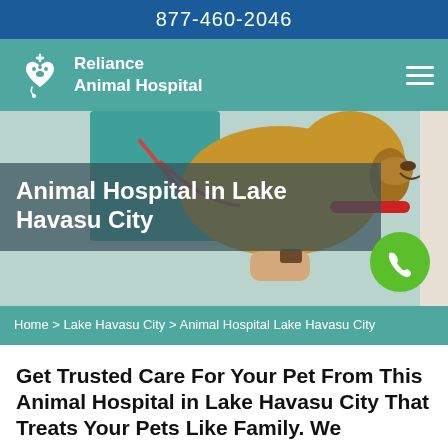877-460-2046
[Figure (logo): Reliance Animal Hospital logo with heart and paw icon]
[Figure (photo): Veterinarian in teal scrubs with stethoscope examining a golden retriever dog held by a person]
Animal Hospital in Lake Havasu City
Home > Lake Havasu City > Animal Hospital Lake Havasu City
Get Trusted Care For Your Pet From This Animal Hospital in Lake Havasu City That Treats Your Pets Like Family. We